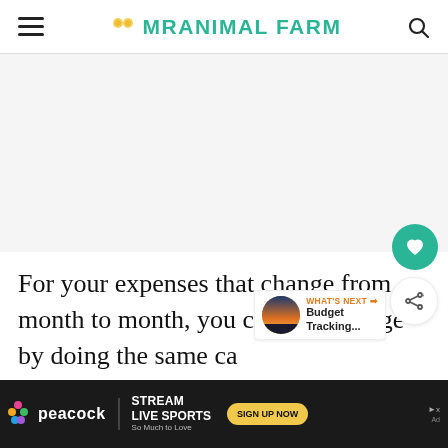MRANIMAL FARM
[Figure (other): Advertisement banner area (blank/white space)]
For your expenses that change from month to month, you can get average by doing the same ca[lculation] [as you would for a]
[Figure (other): Peacock advertisement banner: STREAM LIVE SPORTS So Much to Love - SIGN UP NOW]